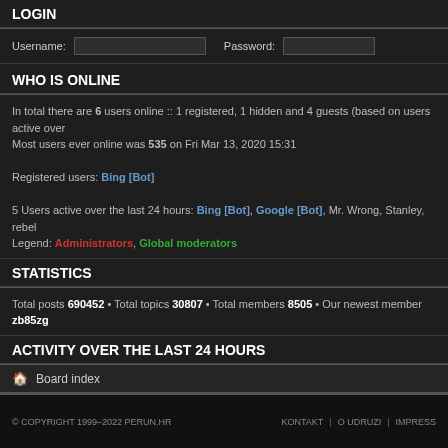LOGIN
Username: [input] Password: [input]
WHO IS ONLINE
In total there are 6 users online :: 1 registered, 1 hidden and 4 guests (based on users active over the past 5 minutes)
Most users ever online was 535 on Fri Mar 13, 2020 15:31

Registered users: Bing [Bot]

5 Users active over the last 24 hours: Bing [Bot], Google [Bot], Mr. Wrong, Stanley, rebel
Legend: Administrators, Global moderators
STATISTICS
Total posts 690452 • Total topics 30807 • Total members 8505 • Our newest member zb85zg
ACTIVITY OVER THE LAST 24 HOURS
New Posts 0 • New Topics 0 • New users 0
Board index
© COPYRIGHT 1999–2022 PERUN.HR  |  KONTAKT  |  O UDRUZI  |  IMPRESSUM